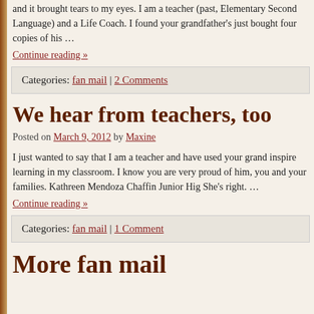and it brought tears to my eyes. I am a teacher (past, Elementary Second Language) and a Life Coach. I found your grandfather's just bought four copies of his …
Continue reading »
Categories: fan mail | 2 Comments
We hear from teachers, too
Posted on March 9, 2012 by Maxine
I just wanted to say that I am a teacher and have used your grand inspire learning in my classroom. I know you are very proud of him, you and your families. Kathreen Mendoza Chaffin Junior Hig She's right. …
Continue reading »
Categories: fan mail | 1 Comment
More fan mail